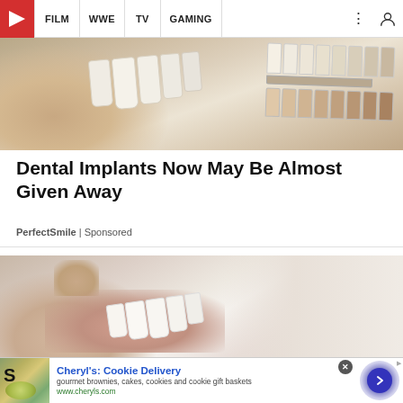WhatCulture — FILM | WWE | TV | GAMING
[Figure (photo): Close-up photo of a person's mouth with dental veneers/implants being matched against a color swatch tray of tooth shades]
Dental Implants Now May Be Almost Given Away
PerfectSmile | Sponsored
[Figure (photo): Close-up photo of a person smiling showing white dental veneers/implants]
[Figure (screenshot): Bottom banner advertisement for Cheryl's: Cookie Delivery — gourmet brownies, cakes, cookies and cookie gift baskets — www.cheryls.com]